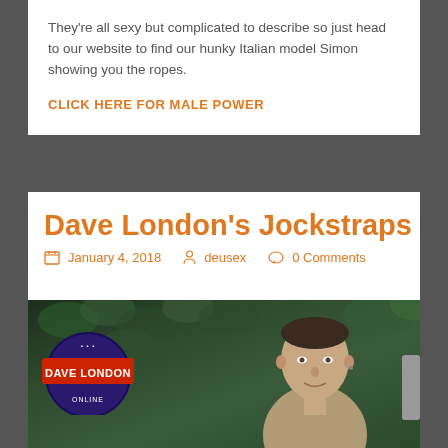They're all sexy but complicated to describe so just head to our website to find our hunky Italian model Simon showing you the ropes.
CLICK HERE FOR MALE POWER
Dave London's Jockstraps
January 4, 2018  deusex  0 Comments
[Figure (photo): Photo of a man outdoors with greenery/foliage background, with a Dave London Online branded badge/logo overlay in the lower left corner, and a scrollbar visible on the right edge.]